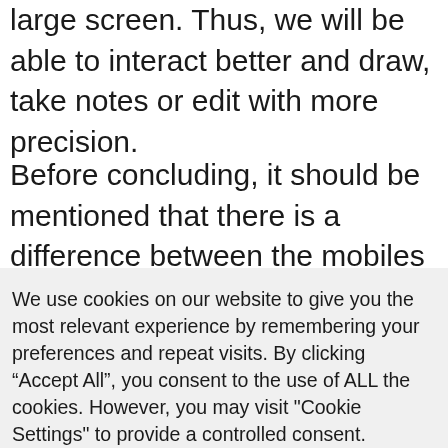large screen. Thus, we will be able to interact better and draw, take notes or edit with more precision.
Before concluding, it should be mentioned that there is a difference between the mobiles that integrate a stylus and the mobiles that can be used with the stylus. In the first case, there are few options to choose from. In the second case, it covers
We use cookies on our website to give you the most relevant experience by remembering your preferences and repeat visits. By clicking “Accept All”, you consent to the use of ALL the cookies. However, you may visit "Cookie Settings" to provide a controlled consent.